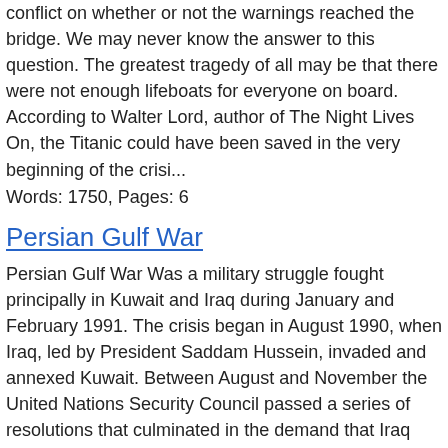conflict on whether or not the warnings reached the bridge. We may never know the answer to this question. The greatest tragedy of all may be that there were not enough lifeboats for everyone on board. According to Walter Lord, author of The Night Lives On, the Titanic could have been saved in the very beginning of the crisi...
Words: 1750, Pages: 6
Persian Gulf War
Persian Gulf War Was a military struggle fought principally in Kuwait and Iraq during January and February 1991. The crisis began in August 1990, when Iraq, led by President Saddam Hussein, invaded and annexed Kuwait. Between August and November the United Nations Security Council passed a series of resolutions that culminated in the demand that Iraq withdraw unconditionally from Kuwait by January 15, 1991. By that time, some 500,000 allied ground, air, and naval forceschiefly from